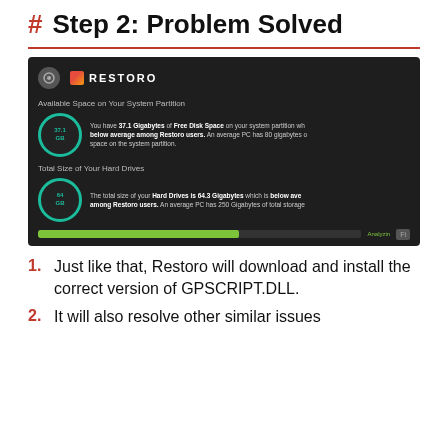# Step 2: Problem Solved
[Figure (screenshot): Screenshot of the Restoro application showing Available Space on Your System Partition (37.1 GB, below average) and Total Size of Your Hard Drives (64 GB, below average among Restoro users), with a green progress bar labeled Analyzing.]
Just like that, Restoro will download and install the correct version of GPSCRIPT.DLL.
It will also resolve other similar issues